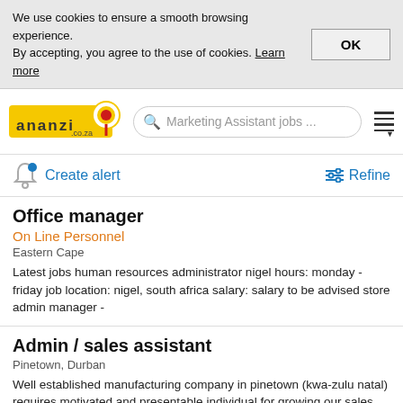We use cookies to ensure a smooth browsing experience. By accepting, you agree to the use of cookies. Learn more
OK
[Figure (logo): ananzi.co.za logo with yellow background and red target icon]
Marketing Assistant jobs ...
Create alert
Refine
Office manager
On Line Personnel
Eastern Cape
Latest jobs human resources administrator nigel hours: monday - friday job location: nigel, south africa salary: salary to be advised store admin manager -
Admin / sales assistant
Pinetown, Durban
Well established manufacturing company in pinetown (kwa-zulu natal) requires motivated and presentable individual for growing our sales department.
Admin / Sales assistant
Confidencial
Pinetown, Durban